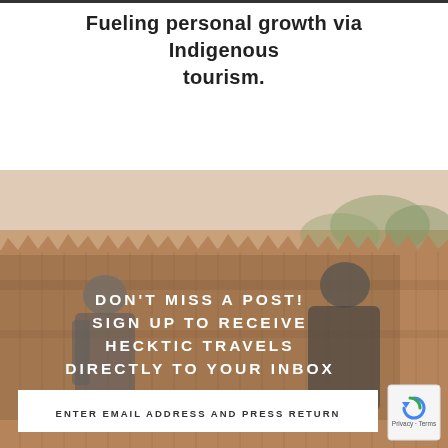Fueling personal growth via Indigenous tourism.
[Figure (photo): Two people standing in front of a wooden fence — a man on the left and a woman on the right, both smiling, with trees visible above the fence in the background. The image has a warm sepia/faded tone. Overlaid white bold uppercase text reads: DON'T MISS A POST! SIGN UP TO RECEIVE HECKTIC TRAVELS DIRECTLY TO YOUR INBOX. Below is an email input bar with text: ENTER EMAIL ADDRESS AND PRESS RETURN. A reCAPTCHA badge appears in the lower right.]